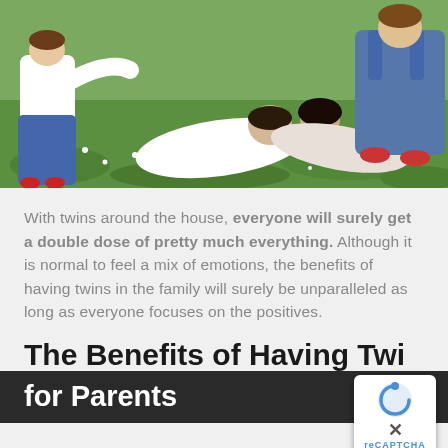[Figure (photo): A family with two young children (twins) playing outdoors on grass with white flowers. A couple lies on the grass kissing while two toddlers stand nearby, one in jeans and white shirt on the left, one in denim overalls on the right.]
With twins around the house, everyone will surely get a double dose of pretty much everything. Although it is normal to feel a mix of emotions, the benefits of having twins in the family will surely be unparalleled as long as everyone focuses on the positives.
The Benefits of Having Twins for Parents